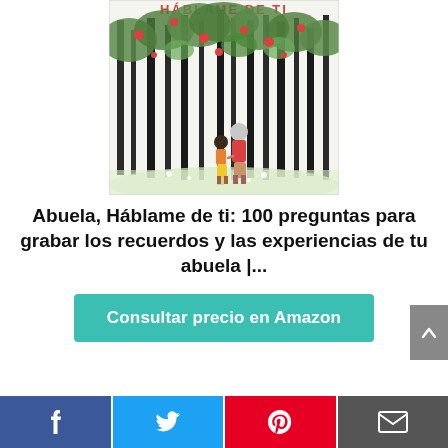[Figure (illustration): Book cover illustration titled 'HÁBLAME DE TI' showing a grandmother and child walking hand-in-hand through a forest with dark tree trunks, green leaves, and red flowers. Text at top reads HÁBLAME DE TI in red letters.]
Abuela, Háblame de ti: 100 preguntas para grabar los recuerdos y las experiencias de tu abuela |...
Consultar precio en Amazon
[Figure (infographic): Social media share bar at the bottom with Facebook (blue), Twitter (light blue), Pinterest (red), and email (dark grey) icons.]